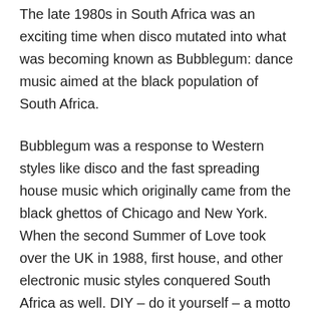The late 1980s in South Africa was an exciting time when disco mutated into what was becoming known as Bubblegum: dance music aimed at the black population of South Africa.
Bubblegum was a response to Western styles like disco and the fast spreading house music which originally came from the black ghettos of Chicago and New York. When the second Summer of Love took over the UK in 1988, first house, and other electronic music styles conquered South Africa as well. DIY – do it yourself – a motto that had already appeared in the punk movement, lifted the young local scene to the next level. With a minimal